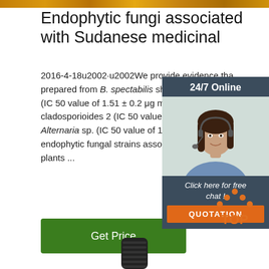[Figure (photo): Top decorative image strip with autumn/plant tones in orange and gold]
Endophytic fungi associated with Sudanese medicinal
2016-4-18u2002·u2002We provide evidence that prepared from B. spectabilis showed the greatest (IC 50 value of 1.51 ± 0.2 μg mL −1), followed by cladosporioides 2 (IC 50 value of 10.5 ± 1.5 μg m Alternaria sp. (IC 50 value of 13.5 ± 1.8 μg mL −1. endophytic fungal strains associated with Sudanese plants ...
[Figure (photo): 24/7 Online chat panel with photo of woman wearing headset, and QUOTATION button in orange]
[Figure (other): TOP navigation icon with orange dots arranged in arrow/triangle and text TOP in orange]
[Figure (photo): Bottom portion of a dark bottle/container]